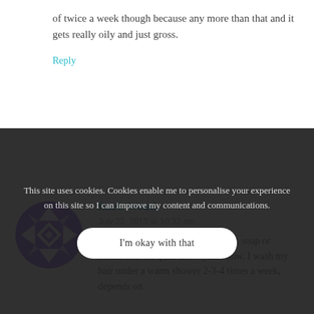of twice a week though because any more than that and it gets really oily and just gross.
Reply
[Figure (illustration): Purple geometric/snowflake avatar icon for user Barb Wood.]
Barb Wood.
July 22, 2015 at 10:32 am
I haven't used shampoo,conditioner, soap or deodarents for quite a few years now. I wash my hair under a warm shower 2-3-4 times a week, depends on Instead of soap I use a flannel and flour mix makes a great deodrent. I also pray wh vinegar under arms after showering. I'm tight, lazy, wanted to stop chemical
This site uses cookies. Cookies enable me to personalise your experience on this site so I can improve my content and communications.
I'm okay with that